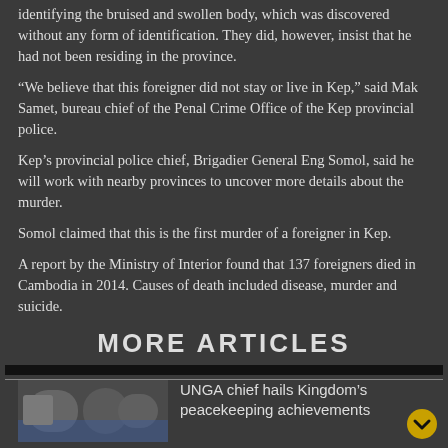identifying the bruised and swollen body, which was discovered without any form of identification. They did, however, insist that he had not been residing in the province.
“We believe that this foreigner did not stay or live in Kep,” said Mak Samet, bureau chief of the Penal Crime Office of the Kep provincial police.
Kep’s provincial police chief, Brigadier General Eng Somol, said he will work with nearby provinces to uncover more details about the murder.
Somol claimed that this is the first murder of a foreigner in Kep.
A report by the Ministry of Interior found that 137 foreigners died in Cambodia in 2014. Causes of death included disease, murder and suicide.
MORE ARTICLES
UNGA chief hails Kingdom’s peacekeeping achievements